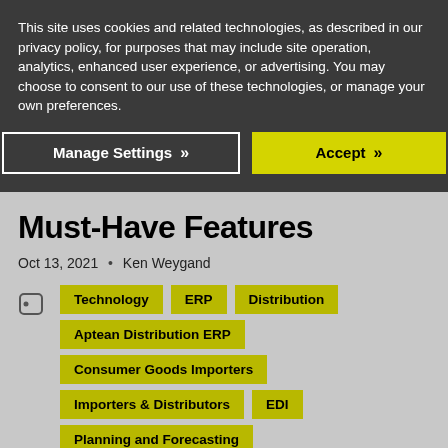This site uses cookies and related technologies, as described in our privacy policy, for purposes that may include site operation, analytics, enhanced user experience, or advertising. You may choose to consent to our use of these technologies, or manage your own preferences.
Manage Settings
Accept
Must-Have Features
Oct 13, 2021 • Ken Weygand
Technology
ERP
Distribution
Aptean Distribution ERP
Consumer Goods Importers
Importers & Distributors
EDI
Planning and Forecasting